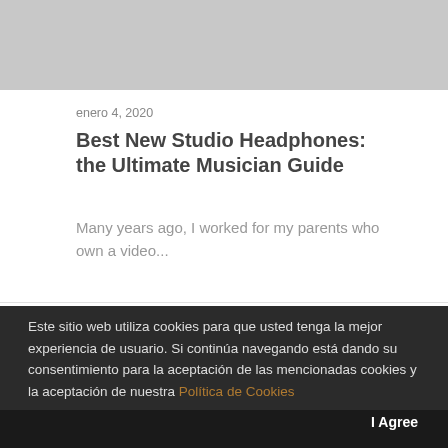[Figure (photo): Gray placeholder image at top of article card]
enero 4, 2020
Best New Studio Headphones: the Ultimate Musician Guide
Many years ago, I worked for my parents who own a video...
by incade
Este sitio web utiliza cookies para que usted tenga la mejor experiencia de usuario. Si continúa navegando está dando su consentimiento para la aceptación de las mencionadas cookies y la aceptación de nuestra Política de Cookies
I Agree